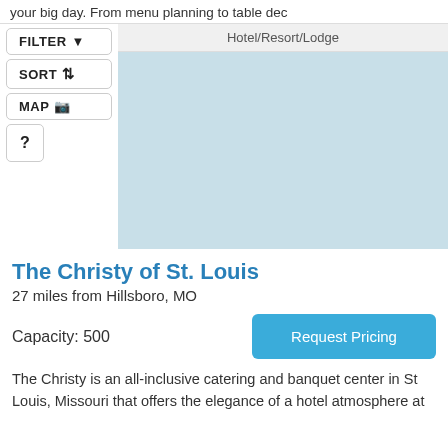your big day. From menu planning to table dec
FILTER
SORT
MAP
?
Hotel/Resort/Lodge
[Figure (map): Light blue map area showing venue locations]
The Christy of St. Louis
27 miles from Hillsboro, MO
Capacity: 500
Request Pricing
The Christy is an all-inclusive catering and banquet center in St Louis, Missouri that offers the elegance of a hotel atmosphere at